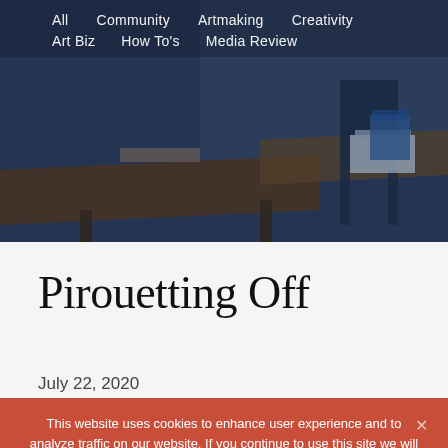[Figure (photo): Background photo of a classroom with desks and chairs in blue/dark tones]
All   Community   Artmaking   Creativity   Art Biz   How To's   Media Review
Pirouetting Off
July 22, 2020
This website uses cookies to enhance user experience and to analyze traffic on our website. If you continue to use this site we will assume that you are happy with it.
Ok      Privacy Policy